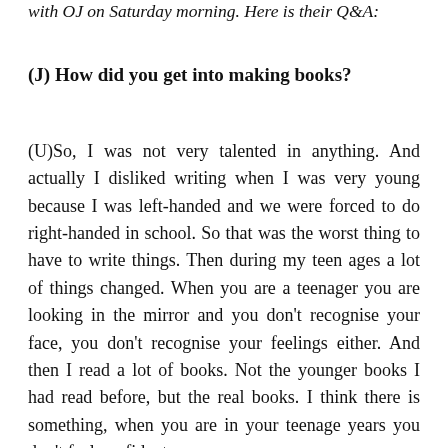with OJ on Saturday morning. Here is their Q&A:
(J) How did you get into making books?
(U)So, I was not very talented in anything. And actually I disliked writing when I was very young because I was left-handed and we were forced to do right-handed in school. So that was the worst thing to have to write things. Then during my teen ages a lot of things changed. When you are a teenager you are looking in the mirror and you don't recognise your face, you don't recognise your feelings either. And then I read a lot of books. Not the younger books I had read before, but the real books. I think there is something, when you are in your teenage years you don't feel confident